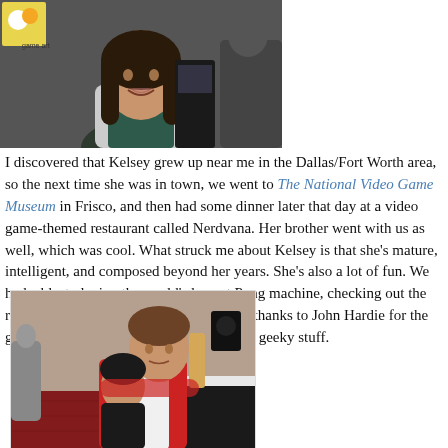[Figure (photo): Photo of a young woman with long dark hair smiling at the camera, indoors at what appears to be a gaming event]
I discovered that Kelsey grew up near me in the Dallas/Fort Worth area, so the next time she was in town, we went to The National Video Game Museum in Frisco, and then had some dinner later that day at a video game-themed restaurant called Nerdvana. Her brother went with us as well, which was cool. What struck me about Kelsey is that she’s mature, intelligent, and composed beyond her years. She’s also a lot of fun. We had a blast playing the world’s largest Pong machine, checking out the rare games, investigating the back room (thanks to John Hardie for the grand tour), and talking about all kinds of geeky stuff.
[Figure (photo): Photo of a man in a red and white shirt holding a young girl at what appears to be a gaming convention or event]